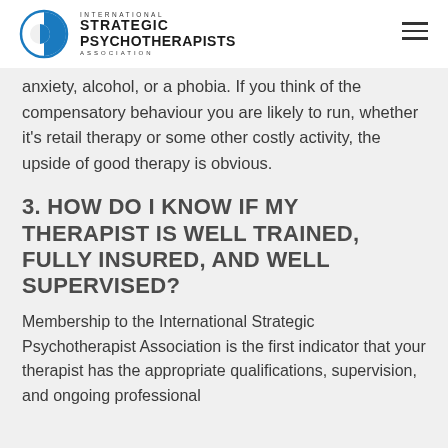INTERNATIONAL STRATEGIC PSYCHOTHERAPISTS ASSOCIATION
...to benefit in your one-on-one struggle with anxiety, alcohol, or a phobia. If you think of the compensatory behaviour you are likely to run, whether it's retail therapy or some other costly activity, the upside of good therapy is obvious.
3. HOW DO I KNOW IF MY THERAPIST IS WELL TRAINED, FULLY INSURED, AND WELL SUPERVISED?
Membership to the International Strategic Psychotherapist Association is the first indicator that your therapist has the appropriate qualifications, supervision, and ongoing professional